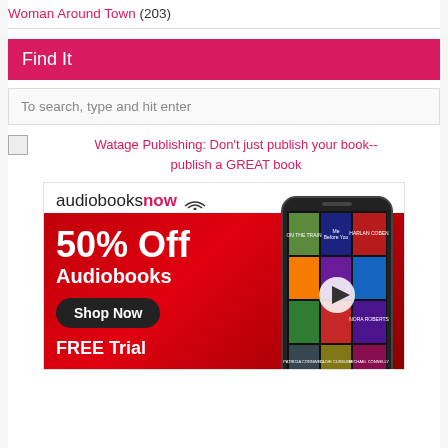Woman Around Town (203)
Find It
To search, type and hit enter
Watage Publishing: Don't just publish your book-- publish a GREAT book
[Figure (infographic): AudiobooksNow advertisement showing 50% Off Audiobooks with Shop Now button and FREE Trial text, featuring a smartphone displaying book covers on a red background]